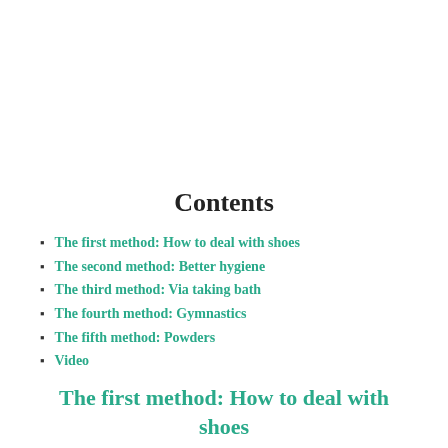Contents
The first method: How to deal with shoes
The second method: Better hygiene
The third method: Via taking bath
The fourth method: Gymnastics
The fifth method: Powders
Video
The first method: How to deal with shoes